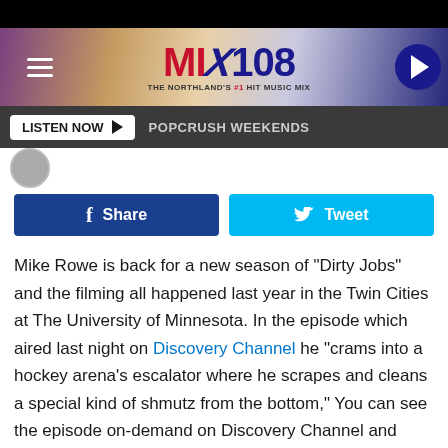[Figure (screenshot): MIX108 radio station website header with hamburger menu, MIX108 logo (red and navy), tagline 'THE NORTHLAND'S #1 HIT MUSIC MIX', and navy play button circle on right]
LISTEN NOW ▶  POPCRUSH WEEKENDS
[Figure (screenshot): Small circular thumbnail avatar on left]
Share  Tweet (social share buttons)
Mike Rowe is back for a new season of "Dirty Jobs" and the filming all happened last year in the Twin Cities at The University of Minnesota. In the episode which aired last night on Discovery Channel he "crams into a hockey arena's escalator where he scrapes and cleans a special kind of shmutz from the bottom," You can see the episode on-demand on Discovery Channel and streaming on Discovery+.
The hit show started back in 2005 -2013 with a limited series